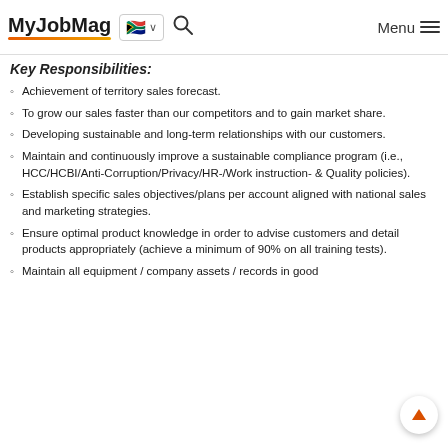MyJobMag [South Africa flag] [search] Menu
Key Responsibilities:
Achievement of territory sales forecast.
To grow our sales faster than our competitors and to gain market share.
Developing sustainable and long-term relationships with our customers.
Maintain and continuously improve a sustainable compliance program (i.e., HCC/HCBI/Anti-Corruption/Privacy/HR-/Work instruction- & Quality policies).
Establish specific sales objectives/plans per account aligned with national sales and marketing strategies.
Ensure optimal product knowledge in order to advise customers and detail products appropriately (achieve a minimum of 90% on all training tests).
Maintain all equipment / company assets / records in good